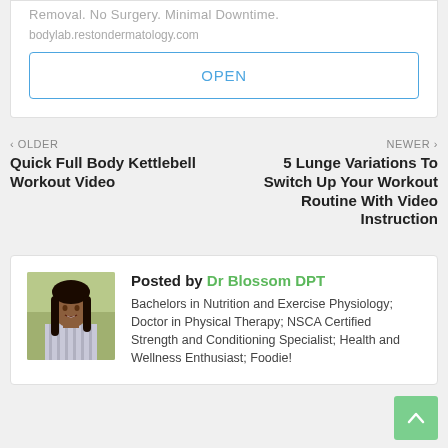Removal. No Surgery. Minimal Downtime.
bodylab.restondermatology.com
OPEN
< OLDER
Quick Full Body Kettlebell Workout Video
NEWER >
5 Lunge Variations To Switch Up Your Workout Routine With Video Instruction
Posted by Dr Blossom DPT
[Figure (photo): Photo of Dr Blossom DPT, a woman with long dark hair wearing a striped shirt, outdoors with green foliage in background]
Bachelors in Nutrition and Exercise Physiology; Doctor in Physical Therapy; NSCA Certified Strength and Conditioning Specialist; Health and Wellness Enthusiast; Foodie!